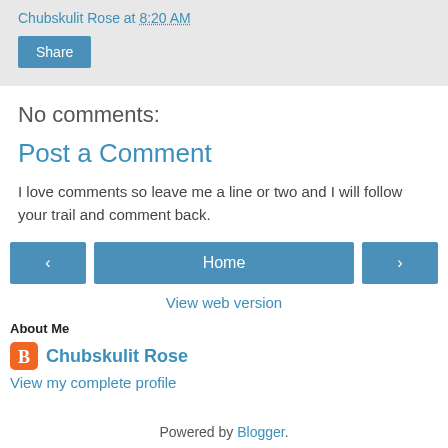Chubskulit Rose at 8:20 AM
Share
No comments:
Post a Comment
I love comments so leave me a line or two and I will follow your trail and comment back.
‹   Home   ›
View web version
About Me
Chubskulit Rose
View my complete profile
Powered by Blogger.